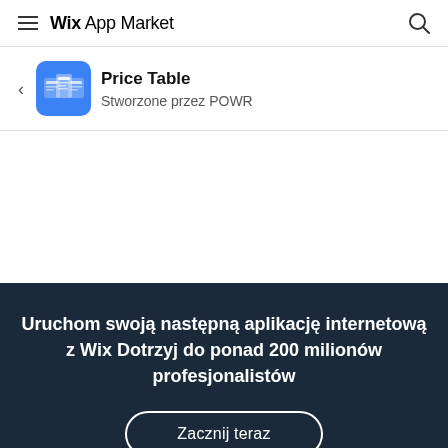Wix App Market
Price Table
Stworzone przez POWR
Uruchom swoją następną aplikację internetową z Wix Dotrzyj do ponad 200 milionów profesjonalistów
Zacznij teraz